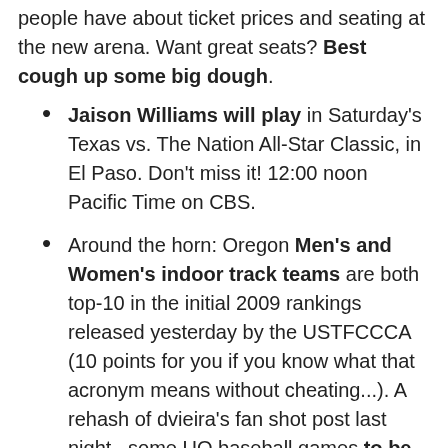people have about ticket prices and seating at the new arena. Want great seats? Best cough up some big dough.
Jaison Williams will play in Saturday's Texas vs. The Nation All-Star Classic, in El Paso. Don't miss it! 12:00 noon Pacific Time on CBS.
Around the horn: Oregon Men's and Women's indoor track teams are both top-10 in the initial 2009 rankings released yesterday by the USTFCCCA (10 points for you if you know what that acronym means without cheating...). A rehash of dvieira's fan shot post last night...some UO baseball games to be televised. It appears the Ducks starting lineup for baseball is starting to take shape. Women's tennis player Carmen Seremeta is the GoDucks.com student-athlete of